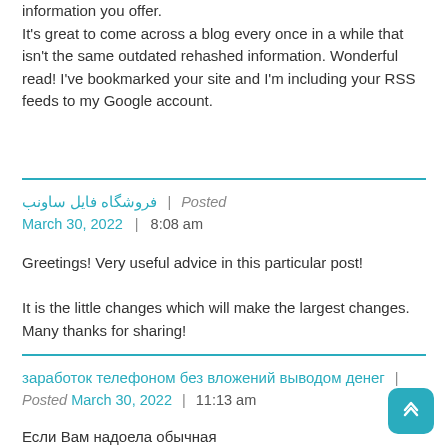information you offer.
It's great to come across a blog every once in a while that isn't the same outdated rehashed information. Wonderful read! I've bookmarked your site and I'm including your RSS feeds to my Google account.
فروشگاه فایل ساونب | Posted March 30, 2022 | 8:08 am
Greetings! Very useful advice in this particular post!

It is the little changes which will make the largest changes. Many thanks for sharing!
заработок телефоном без вложений выводом денег | Posted March 30, 2022 | 11:13 am
Если Вам надоела обычная